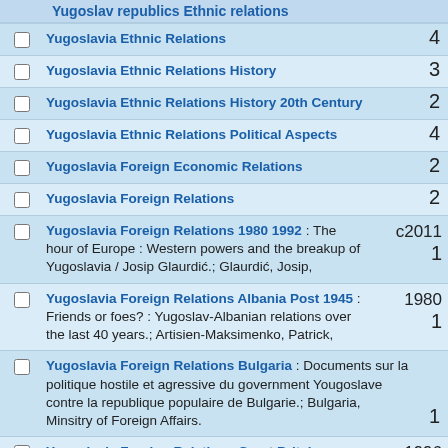Yugoslav republics Ethnic relations
Yugoslavia Ethnic Relations
Yugoslavia Ethnic Relations History
Yugoslavia Ethnic Relations History 20th Century
Yugoslavia Ethnic Relations Political Aspects
Yugoslavia Foreign Economic Relations
Yugoslavia Foreign Relations
Yugoslavia Foreign Relations 1980 1992 : The hour of Europe : Western powers and the breakup of Yugoslavia / Josip Glaurdić.; Glaurdić, Josip,
Yugoslavia Foreign Relations Albania Post 1945 : Friends or foes? : Yugoslav-Albanian relations over the last 40 years.; Artisien-Maksimenko, Patrick,
Yugoslavia Foreign Relations Bulgaria : Documents sur la politique hostile et agressive du government Yougoslave contre la republique populaire de Bulgarie.; Bulgaria, Minsitry of Foreign Affairs.
Yugoslavia Foreign Relations Great Britain : Balkan odyssey / David Owen.; Owen, David,
Yugoslavia Foreign Relations History Sources : European Community -- Yugoslav relations : debates